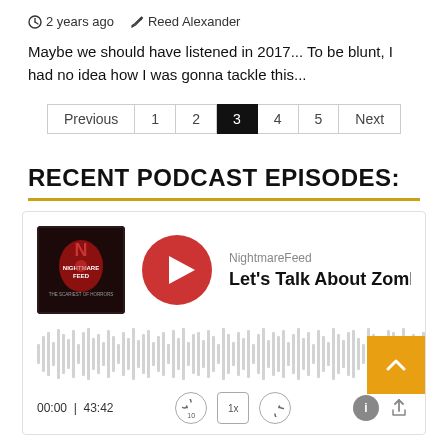2 years ago  Reed Alexander
Maybe we should have listened in 2017... To be blunt, I had no idea how I was gonna tackle this...
Pagination: Previous | 1 | 2 | 3 (active) | 4 | 5 | Next
RECENT PODCAST EPISODES:
[Figure (screenshot): Podcast player widget for NightmareFeed - Let's Talk About Zomb... with album art, play button, audio waveform visualization, time 00:00 / 43:42, and playback controls]